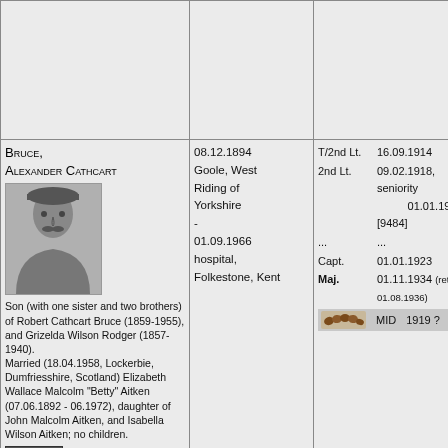| Name / Biography | Birth / Death | Rank / Awards |
| --- | --- | --- |
| (empty row) |  |  |
| Bruce, Alexander Cathcart
[photo]
Son (with one sister and two brothers) of Robert Cathcart Bruce (1859-1955), and Grizelda Wilson Rodger (1857-1940).
Married (18.04.1958, Lockerbie, Dumfriesshire, Scotland) Elizabeth Wallace Malcolm "Betty" Aitken (07.06.1892 - 06.1972), daughter of John Malcolm Aitken, and Isabella Wilson Aitken; no children.
[archives] papers | 08.12.1894
Goole, West Riding of Yorkshire
-
01.09.1966
hospital, Folkestone, Kent | T/2nd Lt. 16.09.1914
2nd Lt. 09.02.1918, seniority 01.01.1917 [9484]
... ...
Capt. 01.01.1923
Maj. 01.11.1934 (retd 01.08.1936)
[MID icon] MID 1919 ? |
| Bruce, | ? | 2nd Lt. 02.11.1940 [156090] |